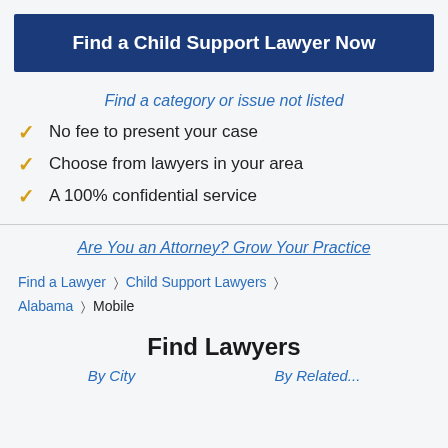Find a Child Support Lawyer Now
Find a category or issue not listed
No fee to present your case
Choose from lawyers in your area
A 100% confidential service
Are You an Attorney? Grow Your Practice
Find a Lawyer > Child Support Lawyers > Alabama > Mobile
Find Lawyers
By City   By Related...